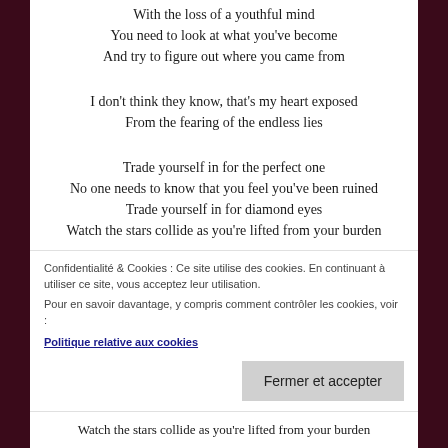With the loss of a youthful mind
You need to look at what you've become
And try to figure out where you came from
I don't think they know, that's my heart exposed
From the fearing of the endless lies
Trade yourself in for the perfect one
No one needs to know that you feel you've been ruined
Trade yourself in for diamond eyes
Watch the stars collide as you're lifted from your burden
I know you can't feel a thing
Confidentialité & Cookies : Ce site utilise des cookies. En continuant à utiliser ce site, vous acceptez leur utilisation.
Pour en savoir davantage, y compris comment contrôler les cookies, voir :
Politique relative aux cookies
Fermer et accepter
Watch the stars collide as you're lifted from your burden